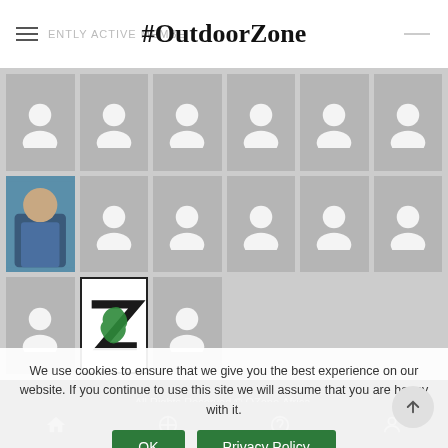#OutdoorZone — RECENTLY ACTIVE MEMBERS
[Figure (screenshot): Grid of 15 member profile avatars (mostly default white silhouette icons on grey backgrounds), one cell shows a real photo of a person, one cell shows the OutdoorZone Africa logo (green Z-shaped Africa continent on white background)]
We use cookies to ensure that we give you the best experience on our website. If you continue to use this site we will assume that you are happy with it.
All Rights Reserved © OZone.Africa.
Developed by OZone.Africa